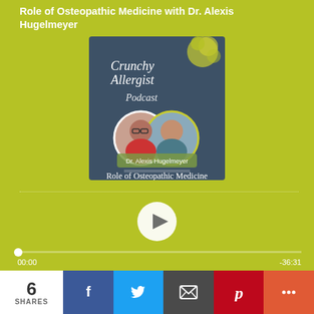Role of Osteopathic Medicine with Dr. Alexis Hugelmeyer
[Figure (illustration): Crunchy Allergist Podcast cover art showing two circular photos of women hosts, with text 'Crunchy Allergist Podcast', 'with Dr. Alexis Hugelmeyer', 'Role of Osteopathic Medicine' on a dark teal/grey background with yellow floral accent]
[Figure (other): Audio player UI with dotted progress bar line, circular white play button, progress dot, timestamps 00:00 and -36:31]
6 SHARES
Facebook share button
Twitter share button
Email share button
Pinterest share button
More share button